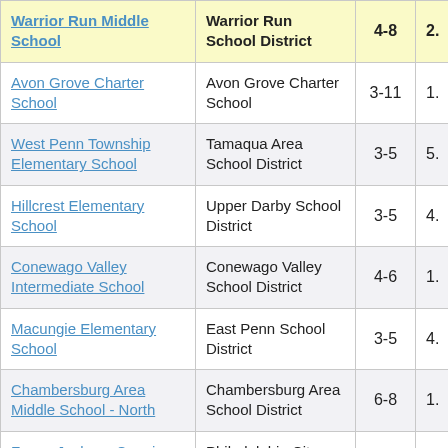| School | District | Grades |  |
| --- | --- | --- | --- |
| Warrior Run Middle School | Warrior Run School District | 4-8 | 2. |
| Avon Grove Charter School | Avon Grove Charter School | 3-11 | 1. |
| West Penn Township Elementary School | Tamaqua Area School District | 3-5 | 5. |
| Hillcrest Elementary School | Upper Darby School District | 3-5 | 4. |
| Conewago Valley Intermediate School | Conewago Valley School District | 4-6 | 1. |
| Macungie Elementary School | East Penn School District | 3-5 | 4. |
| Chambersburg Area Middle School - North | Chambersburg Area School District | 6-8 | 1. |
| Fanny Jackson Coppin School | Philadelphia City School District | 3-8 | 8. |